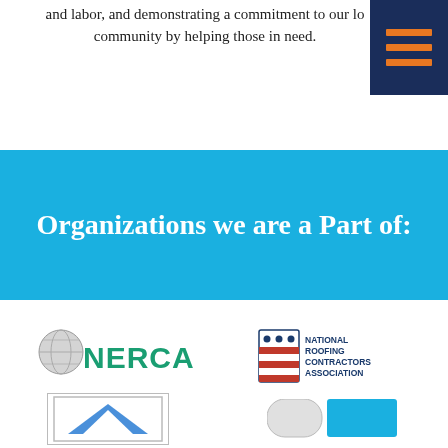and labor, and demonstrating a commitment to our community by helping those in need.
[Figure (logo): Navigation hamburger menu icon with three orange horizontal lines on dark navy blue background]
Organizations we are a Part of:
[Figure (logo): NERCA - North/East Roofing Contractors Association logo with globe/sphere graphic and teal green text]
[Figure (logo): National Roofing Contractors Association logo with shield/flag emblem and navy blue text]
[Figure (logo): Partially visible logo at bottom left with blue triangular shape and white border box]
[Figure (logo): Partially visible logo at bottom right]